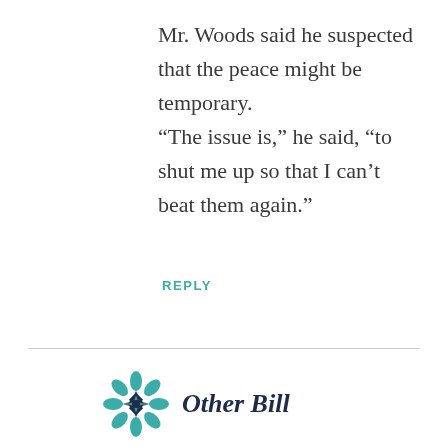Mr. Woods said he suspected that the peace might be temporary. “The issue is,” he said, “to shut me up so that I can’t beat them again.”
REPLY
[Figure (logo): Geometric snowflake/star logo in teal and dark blue, followed by italic bold text 'Other Bill']